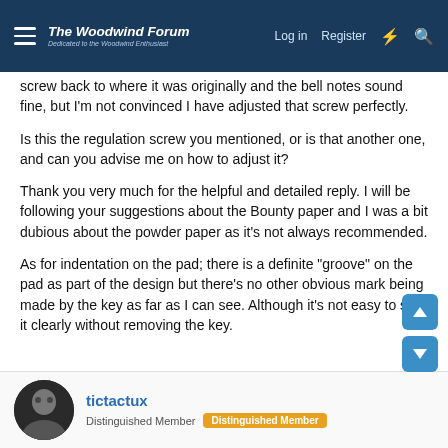The Woodwind Forum — Dedicated to the Woodwind Enthusiast
screw back to where it was originally and the bell notes sound fine, but I'm not convinced I have adjusted that screw perfectly.
Is this the regulation screw you mentioned, or is that another one, and can you advise me on how to adjust it?
Thank you very much for the helpful and detailed reply. I will be following your suggestions about the Bounty paper and I was a bit dubious about the powder paper as it's not always recommended.
As for indentation on the pad; there is a definite "groove" on the pad as part of the design but there's no other obvious mark being made by the key as far as I can see. Although it's not easy to see it clearly without removing the key.
tictactux
Distinguished Member  Distinguished Member